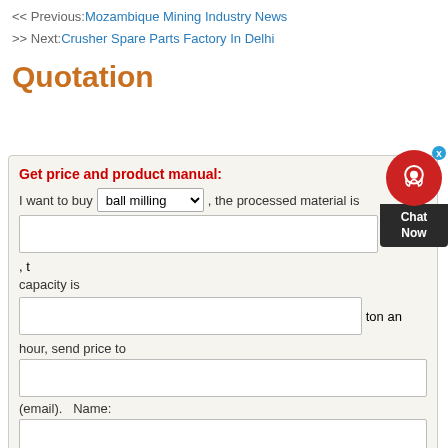<< Previous: Mozambique Mining Industry News
>> Next: Crusher Spare Parts Factory In Delhi
Quotation
Get price and product manual: I want to buy [ball milling dropdown], the processed material is [input], capacity is [input] ton an hour, send price to [input] (email). Name: [input] Phone: [input]
[Figure (other): Red circular chat widget with headset icon and 'Chat Now' label, with blue X close button]